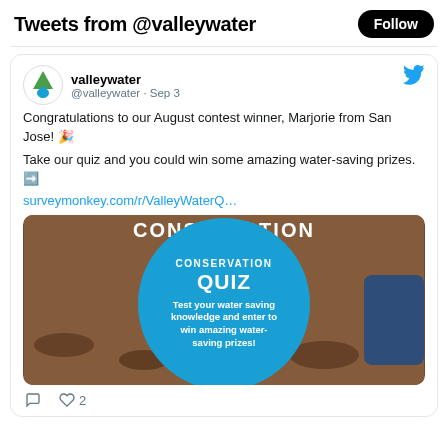Tweets from @valleywater
[Figure (screenshot): Twitter/X tweet from @valleywater account dated Sep 3. Text: 'Congratulations to our August contest winner, Marjorie from San Jose! 🎉 Take our quiz and you could win some amazing water-saving prizes. ➡️ surveymonkey.com/r/ValleyWaterQ...' with an embedded image showing a Conservation Quiz promotional graphic — a blue circle with white text 'CONSERVATION QUIZ' and subtext 'Test your water saving knowledge and enter to win amazing water-saving prizes!' over a dirt/nature background. Below the tweet: comment icon and heart icon with count 2.]